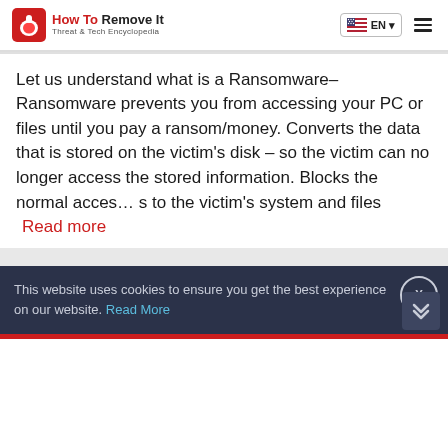How To Remove It – Threat & Tech Encyclopedia | EN
Let us understand what is a Ransomware– Ransomware prevents you from accessing your PC or files until you pay a ransom/money. Converts the data that is stored on the victim's disk – so the victim can no longer access the stored information. Blocks the normal acces… s to the victim's system and files   Read more
This website uses cookies to ensure you get the best experience on our website. Read More